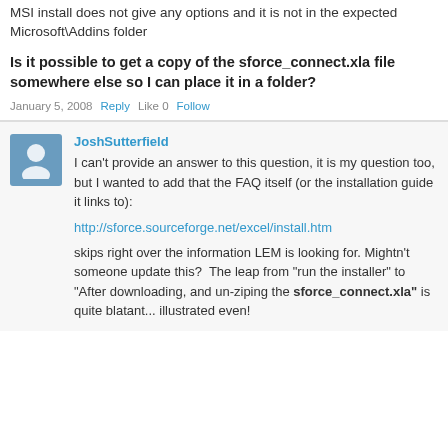MSI install does not give any options and it is not in the expected Microsoft\Addins folder
Is it possible to get a copy of the sforce_connect.xla file somewhere else so I can place it in a folder?
January 5, 2008   Reply   Like 0   Follow
JoshSutterfield
I can't provide an answer to this question, it is my question too, but I wanted to add that the FAQ itself (or the installation guide it links to):
http://sforce.sourceforge.net/excel/install.htm
skips right over the information LEM is looking for. Mightn't someone update this?  The leap from "run the installer" to "After downloading, and un-ziping the sforce_connect.xla" is quite blatant... illustrated even!